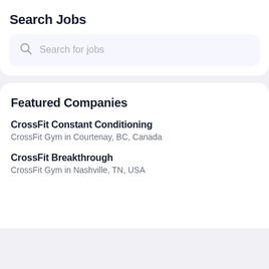Search Jobs
[Figure (screenshot): Search bar with magnifying glass icon and placeholder text 'Search for jobs']
Featured Companies
CrossFit Constant Conditioning
CrossFit Gym in Courtenay, BC, Canada
CrossFit Breakthrough
CrossFit Gym in Nashville, TN, USA